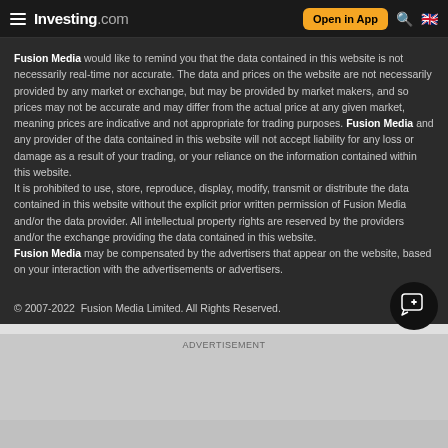Investing.com — Open in App
Fusion Media would like to remind you that the data contained in this website is not necessarily real-time nor accurate. The data and prices on the website are not necessarily provided by any market or exchange, but may be provided by market makers, and so prices may not be accurate and may differ from the actual price at any given market, meaning prices are indicative and not appropriate for trading purposes. Fusion Media and any provider of the data contained in this website will not accept liability for any loss or damage as a result of your trading, or your reliance on the information contained within this website.
It is prohibited to use, store, reproduce, display, modify, transmit or distribute the data contained in this website without the explicit prior written permission of Fusion Media and/or the data provider. All intellectual property rights are reserved by the providers and/or the exchange providing the data contained in this website.
Fusion Media may be compensated by the advertisers that appear on the website, based on your interaction with the advertisements or advertisers.
© 2007-2022  Fusion Media Limited. All Rights Reserved.
ADVERTISEMENT